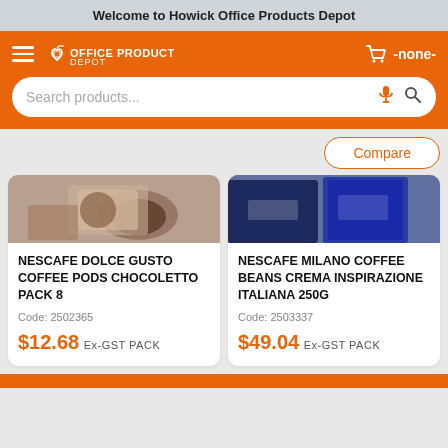Welcome to Howick Office Products Depot
[Figure (screenshot): Orange navigation bar with hamburger menu, Office Products Depot logo, cart icon with -none- label, and search bar]
Compare
[Figure (photo): Partial product image for Nescafe Dolce Gusto Coffee Pods Chocoletto - shows coffee cup and packaging on table]
[Figure (photo): Partial product image for Nescafe Milano Coffee Beans Crema Inspirazione Italiana 250G - shows coffee packaging bags]
NESCAFE DOLCE GUSTO COFFEE PODS CHOCOLETTO PACK 8
Code: 2502365
$12.68 Ex-GST PACK
NESCAFE MILANO COFFEE BEANS CREMA INSPIRAZIONE ITALIANA 250G
Code: 2503337
$49.04 Ex-GST PACK